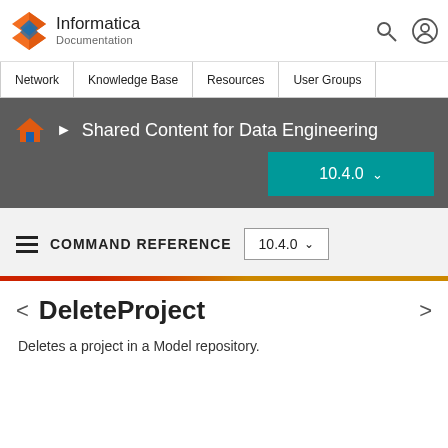Informatica Documentation
Network | Knowledge Base | Resources | User Groups
Shared Content for Data Engineering  10.4.0
COMMAND REFERENCE  10.4.0
DeleteProject
Deletes a project in a Model repository.